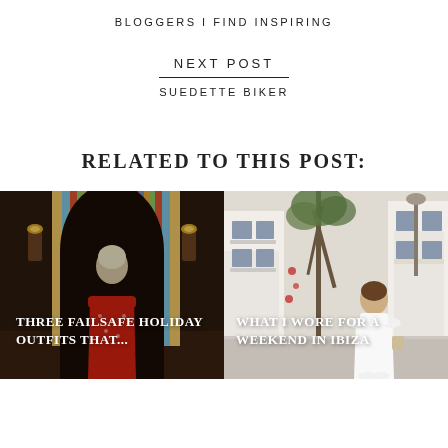BLOGGERS I FIND INSPIRING
NEXT POST
SUEDETTE BIKER
RELATED TO THIS POST:
[Figure (photo): Woman in red patterned dress standing in a decorated hallway with colorful striped curtains. Text overlay reads: THREE FAILSAFE HOLIDAY OUTFITS THAT...]
[Figure (photo): Woman in white dress standing in a white Mediterranean street with plants and buildings. Text overlay reads: WHAT I WORE FOR A WEEKEND IN IBIZA]